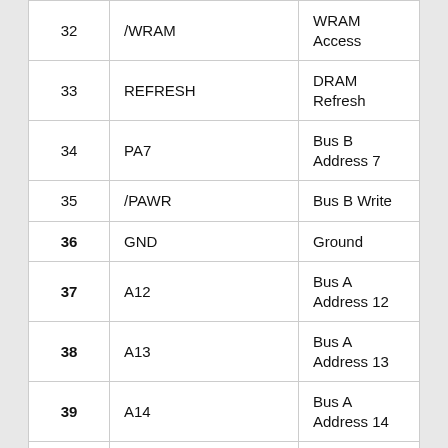| Pin | Name | Description |
| --- | --- | --- |
| 32 | /WRAM | WRAM Access |
| 33 | REFRESH | DRAM Refresh |
| 34 | PA7 | Bus B Address 7 |
| 35 | /PAWR | Bus B Write |
| 36 | GND | Ground |
| 37 | A12 | Bus A Address 12 |
| 38 | A13 | Bus A Address 13 |
| 39 | A14 | Bus A Address 14 |
| 40 | A15 | Bus A Address 15 |
| 41 | A16 | Bus A Address 16 |